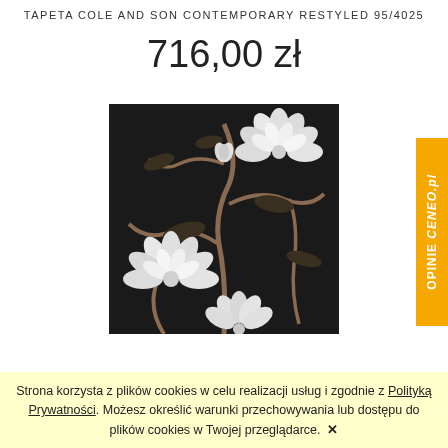TAPETA COLE AND SON CONTEMPORARY RESTYLED 95/4025
716,00 zł
[Figure (photo): Wallpaper product image showing water lily / lotus flower pattern on dark background. White flowers with large petals and lily pads on dark charcoal/black background with brown/taupe stems. Cole and Son Contemporary Restyled 95/4025.]
[Figure (other): Orange vertical tab on right side reading 'OPINIE CENEO.pl']
Strona korzysta z plików cookies w celu realizacji usług i zgodnie z Polityką Prywatności. Możesz określić warunki przechowywania lub dostępu do plików cookies w Twojej przeglądarce.